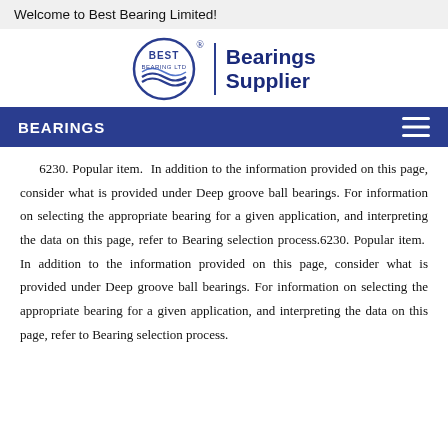Welcome to Best Bearing Limited!
[Figure (logo): Best Bearing Ltd circular logo with waves, alongside 'Bearings Supplier' text in dark blue]
BEARINGS
6230. Popular item.  In addition to the information provided on this page, consider what is provided under Deep groove ball bearings. For information on selecting the appropriate bearing for a given application, and interpreting the data on this page, refer to Bearing selection process.6230. Popular item.  In addition to the information provided on this page, consider what is provided under Deep groove ball bearings. For information on selecting the appropriate bearing for a given application, and interpreting the data on this page, refer to Bearing selection process.